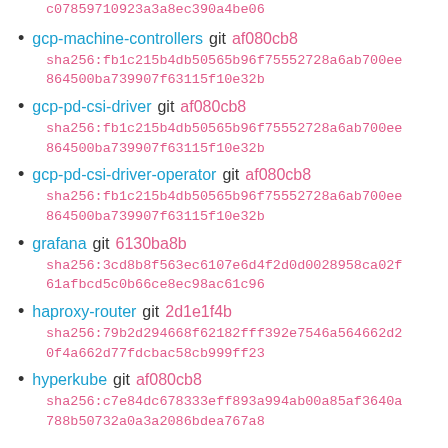c07859710923a3a8ec390a4be06 (continuation of previous hash)
gcp-machine-controllers git af080cb8 sha256:fb1c215b4db50565b96f75552728a6ab700ee864500ba739907f63115f10e32b
gcp-pd-csi-driver git af080cb8 sha256:fb1c215b4db50565b96f75552728a6ab700ee864500ba739907f63115f10e32b
gcp-pd-csi-driver-operator git af080cb8 sha256:fb1c215b4db50565b96f75552728a6ab700ee864500ba739907f63115f10e32b
grafana git 6130ba8b sha256:3cd8b8f563ec6107e6d4f2d0d0028958ca02f61afbcd5c0b66ce8ec98ac61c96
haproxy-router git 2d1e1f4b sha256:79b2d294668f62182fff392e7546a564662d20f4a662d77fdcbac58cb999ff23
hyperkube git af080cb8 sha256:c7e84dc678333eff893a994ab00a85af3640a788b50732a0a3a2086bdea767a8